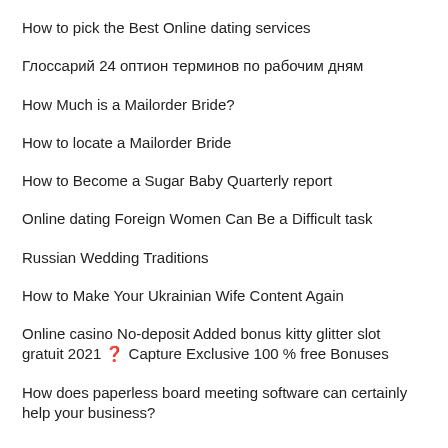How to pick the Best Online dating services
Глоссарий 24 оптион терминов по рабочим дням
How Much is a Mailorder Bride?
How to locate a Mailorder Bride
How to Become a Sugar Baby Quarterly report
Online dating Foreign Women Can Be a Difficult task
Russian Wedding Traditions
How to Make Your Ukrainian Wife Content Again
Online casino No-deposit Added bonus kitty glitter slot gratuit 2021 ❓ Capture Exclusive 100 % free Bonuses
How does paperless board meeting software can certainly help your business?